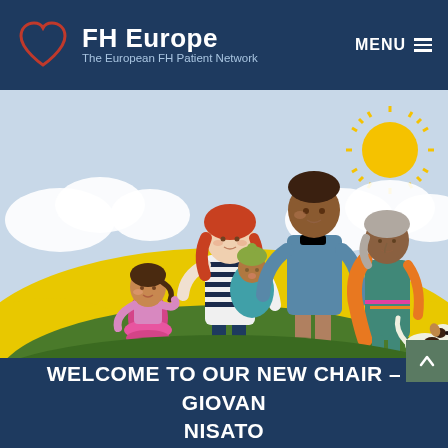FH Europe – The European FH Patient Network
[Figure (illustration): Cartoon illustration of a diverse multi-generational family: a young girl, a woman with red hair holding a baby in teal wrap, a tall man, and an elderly woman in orange sari, standing on a yellow-green hillside with green grass, blue sky with white clouds, and a yellow sun. A small dog is visible at the bottom right.]
WELCOME TO OUR NEW CHAIR – GIOVANNI NISATO